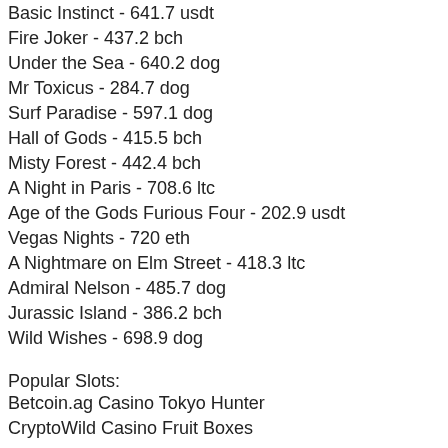Basic Instinct - 641.7 usdt
Fire Joker - 437.2 bch
Under the Sea - 640.2 dog
Mr Toxicus - 284.7 dog
Surf Paradise - 597.1 dog
Hall of Gods - 415.5 bch
Misty Forest - 442.4 bch
A Night in Paris - 708.6 ltc
Age of the Gods Furious Four - 202.9 usdt
Vegas Nights - 720 eth
A Nightmare on Elm Street - 418.3 ltc
Admiral Nelson - 485.7 dog
Jurassic Island - 386.2 bch
Wild Wishes - 698.9 dog
Popular Slots:
Betcoin.ag Casino Tokyo Hunter
CryptoWild Casino Fruit Boxes
Bspin.io Casino Pagoda of Fortune
BitStarz Casino Robin Hood
CryptoGames DJ Wild